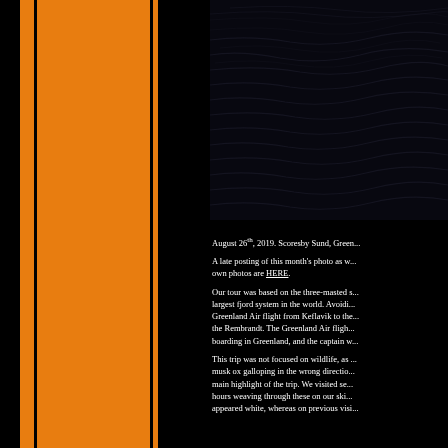[Figure (photo): Dark, nearly black photograph with faint wavy streaks of light — appears to be a long-exposure or abstract night/water/sky image. Scoresby Sund, Greenland, August 26th, 2019.]
August 26th, 2019. Scoresby Sund, Green...
A late posting of this month's photo as w... own photos are HERE.
Our tour was based on the three-masted s... largest fjord system in the world. Avoidi... Greenland Air flight from Keflavik to the... the Rembrandt. The Greenland Air fligh... boarding in Greenland, and the captain w...
This trip was not focused on wildlife, as ... musk ox galloping in the wrong directio... main highlight of the trip. We visited se... hours weaving through these on our ski... appeared white, whereas on previous visi...